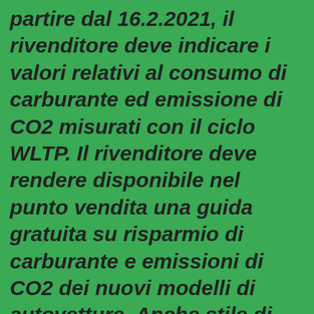partire dal 16.2.2021, il rivenditore deve indicare i valori relativi al consumo di carburante ed emissione di CO2 misurati con il ciclo WLTP. Il rivenditore deve rendere disponibile nel punto vendita una guida gratuita su risparmio di carburante e emissioni di CO2 dei nuovi modelli di autovetture. Anche stile di guida e altri fattori non tecnici influiscono su consumo di carburante e emissioni di CO2. Il